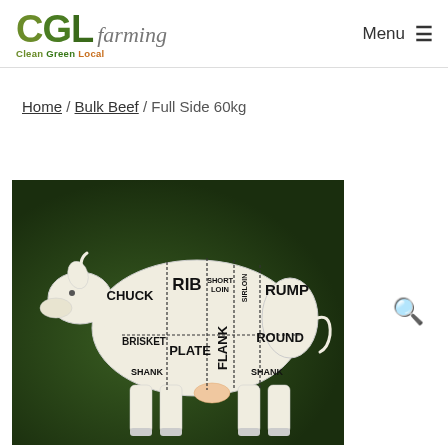CGL farming Clean Green Local | Menu
Home / Bulk Beef / Full Side 60kg
[Figure (illustration): Beef cuts diagram showing a cow silhouette on a dark green background with labeled cuts: CHUCK, RIB, SHORT LOIN, SIRLOIN, RUMP, BRISKET, PLATE, FLANK, ROUND, SHANK (front), SHANK (rear)]